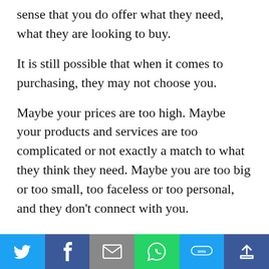sense that you do offer what they need, what they are looking to buy.
It is still possible that when it comes to purchasing, they may not choose you.
Maybe your prices are too high. Maybe your products and services are too complicated or not exactly a match to what they think they need. Maybe you are too big or too small, too faceless or too personal, and they don’t connect with you.
[Figure (other): Social sharing bar with Twitter, Facebook, Email, WhatsApp, SMS, and Share buttons]